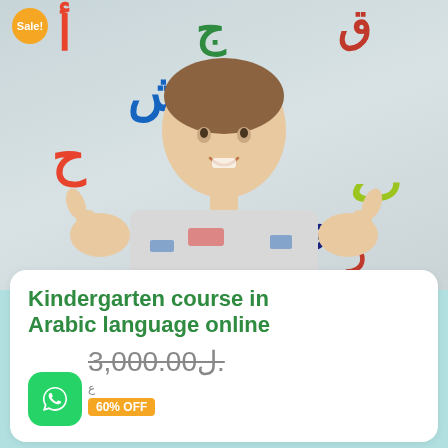[Figure (photo): Child smiling with thumbs up surrounded by colorful Arabic letters on a grey background, with a Sale badge in the top left corner.]
Kindergarten course in Arabic language online
3,000.00ل.
60% OFF